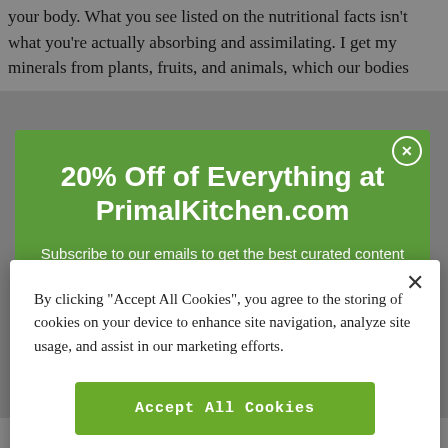your body. What you see listed on the nutritional facts isn't what you're actually absorbing and assimilating. I get my minerals from plants, fruits, and animals, which our bodies
[Figure (screenshot): Green promotional popup for PrimalKitchen.com offering 20% off, with headline '20% Off of Everything at PrimalKitchen.com' and subtitle 'Subscribe to our emails to get the best curated content'. Has a white circular X close button in upper right.]
[Figure (screenshot): White cookie consent dialog with X close button, text 'By clicking "Accept All Cookies", you agree to the storing of cookies on your device to enhance site navigation, analyze site usage, and assist in our marketing efforts.', a green 'Accept All Cookies' button, and a 'Cookies Settings' text link.]
y                          g p